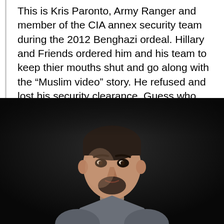This is Kris Paronto, Army Ranger and member of the CIA annex security team during the 2012 Benghazi ordeal. Hillary and Friends ordered him and his team to keep thier mouths shut and go along with the “Muslim video” story. He refused and lost his security clearance. Guess who took it? John Brennan.
[Figure (photo): Portrait photo of a muscular man with short dark hair and a goatee, wearing a grey t-shirt, against a dark background, holding what appears to be a firearm or equipment]